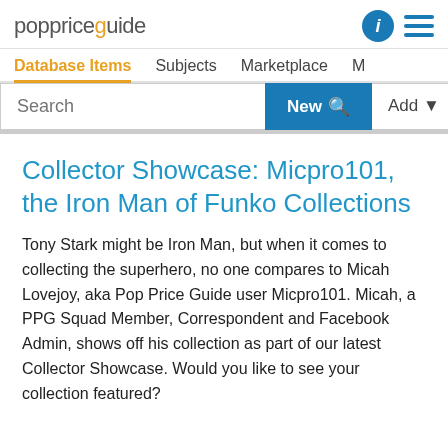poppriceguide
Database Items   Subjects   Marketplace   M
Search   New   Add
Collector Showcase: Micpro101, the Iron Man of Funko Collections
Tony Stark might be Iron Man, but when it comes to collecting the superhero, no one compares to Micah Lovejoy, aka Pop Price Guide user Micpro101. Micah, a PPG Squad Member, Correspondent and Facebook Admin, shows off his collection as part of our latest Collector Showcase. Would you like to see your collection featured?